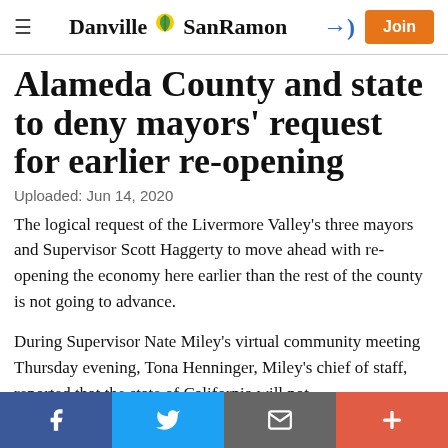Danville SanRamon
Alameda County and state to deny mayors' request for earlier re-opening
Uploaded: Jun 14, 2020
The logical request of the Livermore Valley's three mayors and Supervisor Scott Haggerty to move ahead with re-opening the economy here earlier than the rest of the county is not going to advance.
During Supervisor Nate Miley's virtual community meeting Thursday evening, Tona Henninger, Miley's chief of staff, reported that the state of California will not